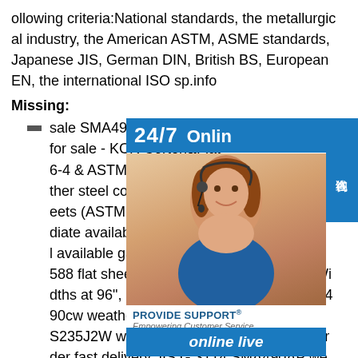ollowing criteria:National standards, the metallurgical industry, the American ASTM, ASME standards, Japanese JIS, German DIN, British BS, European EN, the international ISO sp.info
Missing:
sale SMA490BW weather s for sale - KCR Corten&Flat 6-4 & ASTM A588 In Stock ther steel corten plate for sa eets (ASTM A606-4) are in diate availability.The graph l available gauges and widt 588 flat sheets are available in 48" or 60" Widths at 96", 120", 144" Lengths.sp.info sma490cw weather steel data sheetEN 10025-5 S235J2W weather steel accept small trial order fast delivery JIS G 3114 SMA490AP weathering steel sheet EN 10155 S355K2GW
[Figure (other): Customer service advertisement with 24/7 Online text, photo of woman with headset, PROVIDE SUPPORT Empowering Customer Service branding, online live button, and Chinese characters tab]